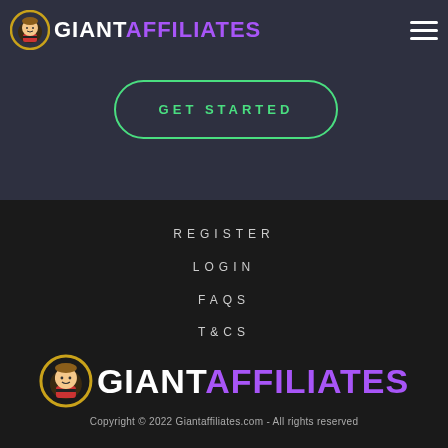GIANT AFFILIATES
GET STARTED
REGISTER
LOGIN
FAQS
T&CS
[Figure (logo): Giant Affiliates logo with mascot character inside a golden circle, text GIANT in white and AFFILIATES in purple]
Copyright © 2022 Giantaffiliates.com - All rights reserved